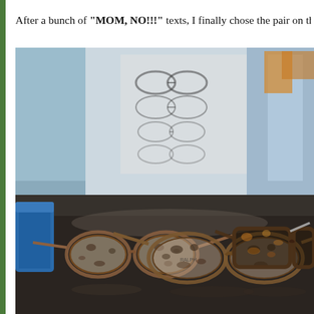After a bunch of "MOM, NO!!!" texts, I finally chose the pair on the ...
[Figure (photo): Three pairs of eyeglasses with tortoise shell frames displayed on a dark counter in an optical store. Background shows display racks with glasses frames. A blue bag or case is visible on the left side.]